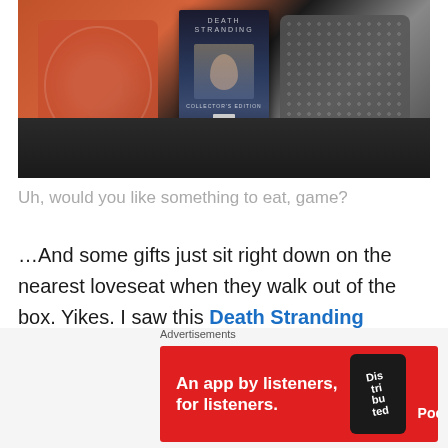[Figure (photo): Photo of a Death Stranding Collector's Edition game box sitting on a dark sofa, flanked by an orange patterned pillow on the left and a grey patterned pillow on the right.]
Uh, would you like something to eat, game?
…And some gifts just sit right down on the nearest loveseat when they walk out of the box. Yikes. I saw this Death Stranding Collector's Edition on sale at a local shop when I was poking around on ebay listing a few games I'm selling and yes, the price was right, so I bought one. The shop actually wasn't the lowest priced one I saw
[Figure (screenshot): Pocket Casts advertisement banner with red background. Text reads: 'An app by listeners, for listeners.' Shows phone graphic with 'Distributed' text and Pocket Casts logo with brand name.]